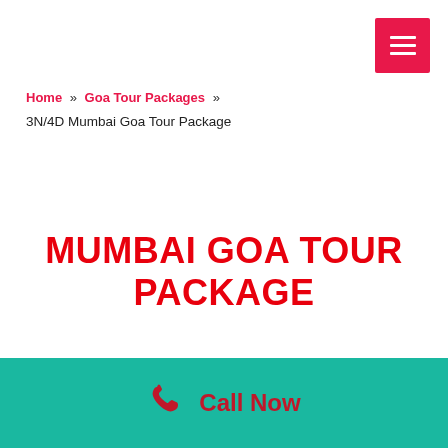[Figure (other): Red hamburger menu button (three white horizontal lines on red background) in top-right corner]
Home » Goa Tour Packages » 3N/4D Mumbai Goa Tour Package
MUMBAI GOA TOUR PACKAGE
Call Now